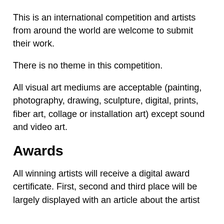This is an international competition and artists from around the world are welcome to submit their work.
There is no theme in this competition.
All visual art mediums are acceptable (painting, photography, drawing, sculpture, digital, prints, fiber art, collage or installation art) except sound and video art.
Awards
All winning artists will receive a digital award certificate. First, second and third place will be largely displayed with an article about the artist